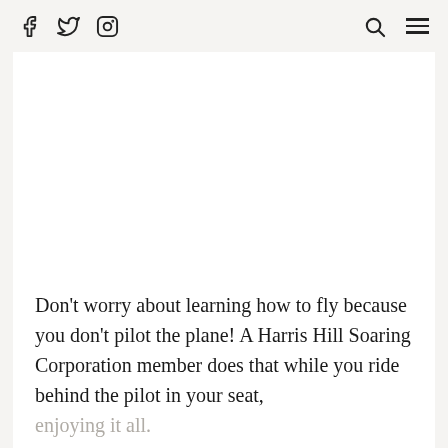[social icons: Facebook, Twitter, Instagram] [search icon] [menu icon]
[Figure (photo): White/blank image area at top of content]
Don’t worry about learning how to fly because you don’t pilot the plane! A Harris Hill Soaring Corporation member does that while you ride behind the pilot in your seat, enjoying it all.